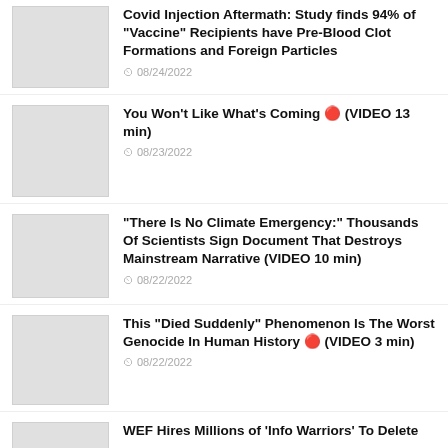Covid Injection Aftermath: Study finds 94% of “Vaccine” Recipients have Pre-Blood Clot Formations and Foreign Particles
08/24/2022
You Won’t Like What’s Coming 🔴 (VIDEO 13 min)
08/23/2022
“There Is No Climate Emergency:” Thousands Of Scientists Sign Document That Destroys Mainstream Narrative (VIDEO 10 min)
08/22/2022
This “Died Suddenly” Phenomenon Is The Worst Genocide In Human History 🔴 (VIDEO 3 min)
08/22/2022
WEF Hires Millions of ‘Info Warriors’ To Delete